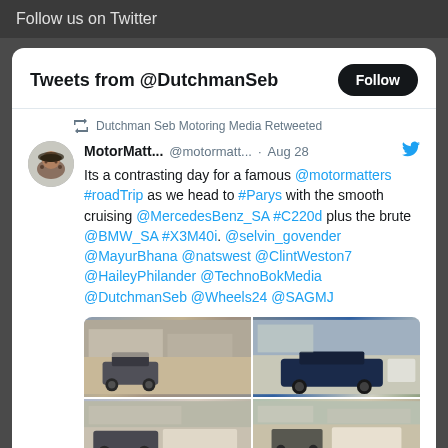Follow us on Twitter
Tweets from @DutchmanSeb
Dutchman Seb Motoring Media Retweeted
MotorMatt... @motormatt... · Aug 28
Its a contrasting day for a famous @motormatters #roadTrip as we head to #Parys with the smooth cruising @MercedesBenz_SA #C220d plus the brute @BMW_SA #X3M40i. @selvin_govender @MayurBhana @natswest @ClintWeston7 @HaileyPhilander @TechnoBokMedia @DutchmanSeb @Wheels24 @SAGMJ
[Figure (photo): Grid of four car photos from a road trip to Parys, showing Mercedes-Benz and BMW vehicles in outdoor settings]